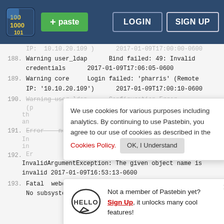[Figure (screenshot): Pastebin website screenshot showing navigation bar with logo, paste button, LOGIN and SIGN UP buttons, a code/log viewer with line numbers 188-193, a cookie consent banner, and a sign-up promotional popup.]
188. Warning user_ldap    Bind failed: 49: Invalid credentials    2017-01-09T17:06:05-0600
189. Warning core    Login failed: 'pharris' (Remote IP: '10.10.20.109')    2017-01-09T17:00:10-0600
190. Warning user_ldap    Configuration Error (p ... th ... an ...
191. Error    no app in context    In ... in ...
192. Er    InvalidArgumentException: The given object name is invalid 2017-01-09T16:53:13-0600
193. Fatal  webdav  Sabre\DAV\Exception: HTTP/1.1 500  No subsystem set a valid HTTP status code.
We use cookies for various purposes including analytics. By continuing to use Pastebin, you agree to our use of cookies as described in the Cookies Policy.  OK, I Understand
Not a member of Pastebin yet? Sign Up, it unlocks many cool features!